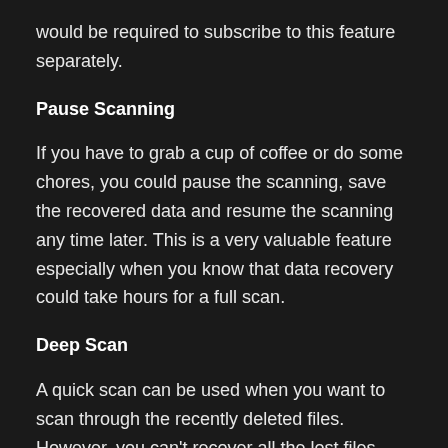would be required to subscribe to this feature separately.
Pause Scanning
If you have to grab a cup of coffee or do some chores, you could pause the scanning, save the recovered data and resume the scanning any time later. This is a very valuable feature especially when you know that data recovery could take hours for a full scan.
Deep Scan
A quick scan can be used when you want to scan through the recently deleted files. However, you can't recover all the lost files with a quick scan and